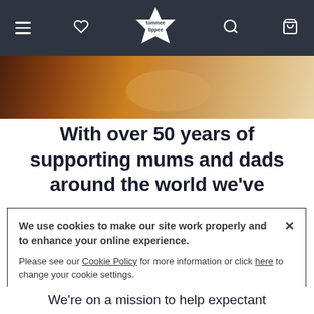tommee tippee navigation bar with hamburger menu, heart/wishlist icon, logo, search and bag icons
[Figure (photo): Close-up photo of hands with warm brown, yellow, and cream tones — partial hero image]
With over 50 years of supporting mums and dads around the world we've
We use cookies to make our site work properly and to enhance your online experience.

Please see our Cookie Policy for more information or click here to change your cookie settings.
We're on a mission to help expectant